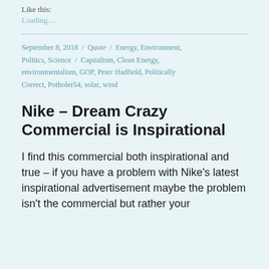Like this:
Loading...
September 8, 2018 / Quote / Energy, Environment, Politics, Science / Capitalism, Clean Energy, environmentalism, GOP, Peter Hadfield, Politically Correct, Potholer54, solar, wind
Nike – Dream Crazy Commercial is Inspirational
I find this commercial both inspirational and true – if you have a problem with Nike's latest inspirational advertisement maybe the problem isn't the commercial but rather your